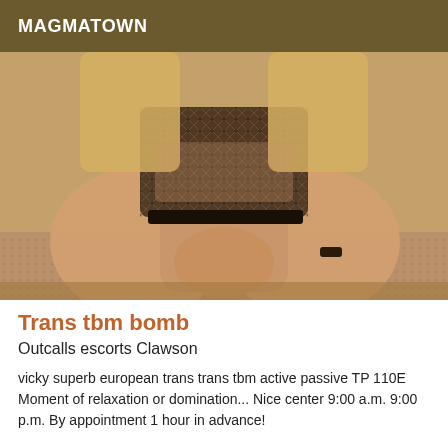MAGMATOWN
[Figure (photo): Photo of a person wearing a fishnet top, seated on a textured surface, cropped to torso and legs.]
Trans tbm bomb
Outcalls escorts Clawson
vicky superb european trans trans tbm active passive TP 110E Moment of relaxation or domination... Nice center 9:00 a.m. 9:00 p.m. By appointment 1 hour in advance!